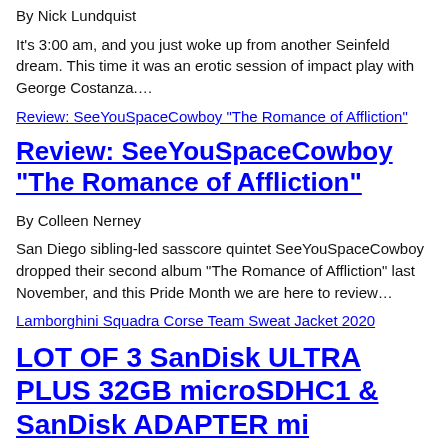By Nick Lundquist
It’s 3:00 am, and you just woke up from another Seinfeld dream. This time it was an erotic session of impact play with George Costanza.…
Review: SeeYouSpaceCowboy “The Romance of Affliction”
Review: SeeYouSpaceCowboy “The Romance of Affliction”
By Colleen Nerney
San Diego sibling-led sasscore quintet SeeYouSpaceCowboy dropped their second album “The Romance of Affliction” last November, and this Pride Month we are here to review…
Lamborghini Squadra Corse Team Sweat Jacket 2020
LOT OF 3 SanDisk ULTRA PLUS 32GB microSDHC1 & SanDisk ADAPTER mi
By Chester Stillwater